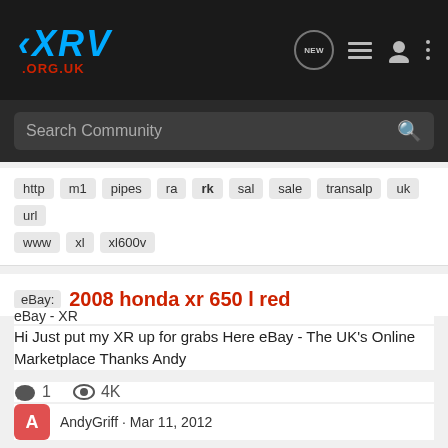XRV .ORG.UK — NEW [icons]
Search Community
http  m1  pipes  ra  rk  sal  sale  transalp  uk  url
www  xl  xl600v
eBay: 2008 honda xr 650 l red
eBay - XR
Hi Just put my XR up for grabs Here eBay - The UK's Online Marketplace Thanks Andy
1  4K
AndyGriff · Mar 11, 2012
650  da  dy  ebay  ha  ho  honda  honda xr  ht  http  line  m1  marketplace  online  place  put  red  rk  uk  url  www  xr